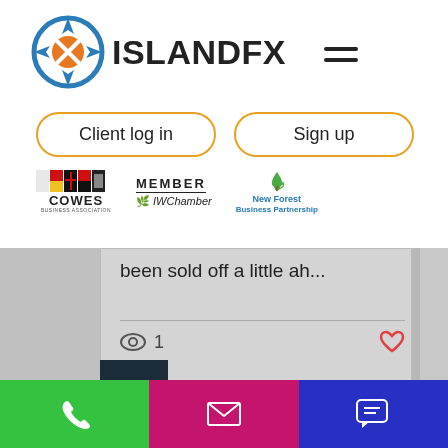[Figure (logo): IslandFX logo with compass icon and text ISLANDFX and hamburger menu icon]
[Figure (other): Client log in and Sign up buttons]
[Figure (logo): Cowes Business Association, Member IWChamber, and New Forest Business Partnership logos]
been sold off a little ah...
[Figure (other): Eye icon with count 1 and heart icon]
[Figure (other): Pagination dots (3 dots, first active)]
[Figure (other): Up/back-to-top button (dark navy with caret up)]
[Figure (other): Bottom action bar with phone (green), email (pink), and chat (blue) buttons]